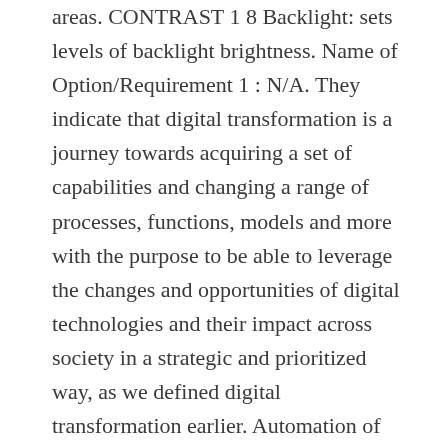areas. CONTRAST 1 8 Backlight: sets levels of backlight brightness. Name of Option/Requirement 1 : N/A. They indicate that digital transformation is a journey towards acquiring a set of capabilities and changing a range of processes, functions, models and more with the purpose to be able to leverage the changes and opportunities of digital technologies and their impact across society in a strategic and prioritized way, as we defined digital transformation earlier. Automation of physical work duties is a growing trend within several sectors. Identify, reach and engage your best customers across digital touchpoints. Radio and newspaper owner Sir Ray Tindle has died aged 95. I would like to ask is, NI clearly